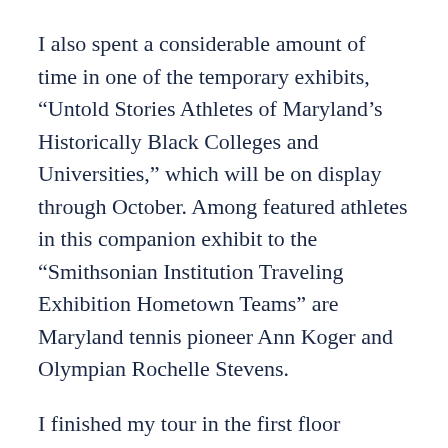I also spent a considerable amount of time in one of the temporary exhibits, “Untold Stories Athletes of Maryland’s Historically Black Colleges and Universities,” which will be on display through October. Among featured athletes in this companion exhibit to the “Smithsonian Institution Traveling Exhibition Hometown Teams” are Maryland tennis pioneer Ann Koger and Olympian Rochelle Stevens.
I finished my tour in the first floor gallery, which houses a temporary exhibit celebrating the centennial of the Association for the Study of African American Life and History (ASALH). On display are fascinating aspects of the ASALH’s history, including considerable information about Dr. Carter G. Woodson, who founded Negro History Week in 1926 because he believed